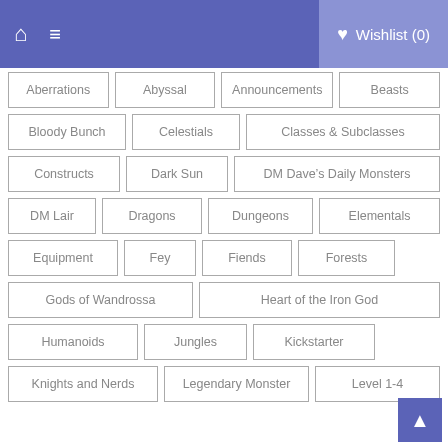Home | Menu | Wishlist (0)
Aberrations
Abyssal
Announcements
Beasts
Bloody Bunch
Celestials
Classes & Subclasses
Constructs
Dark Sun
DM Dave's Daily Monsters
DM Lair
Dragons
Dungeons
Elementals
Equipment
Fey
Fiends
Forests
Gods of Wandrossa
Heart of the Iron God
Humanoids
Jungles
Kickstarter
Knights and Nerds
Legendary Monster
Level 1-4